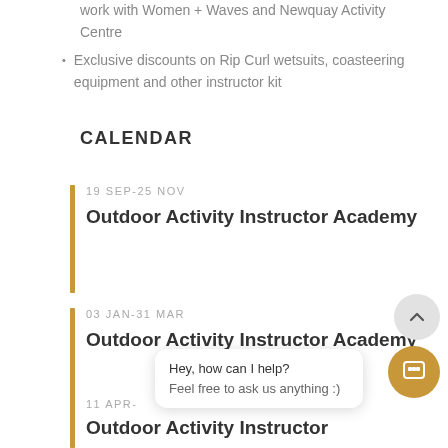work with Women + Waves and Newquay Activity Centre
Exclusive discounts on Rip Curl wetsuits, coasteering equipment and other instructor kit
CALENDAR
19 SEP-25 NOV
Outdoor Activity Instructor Academy
03 JAN-31 MAR
Outdoor Activity Instructor Academy
11 APR-
Outdoor Activity Instructor